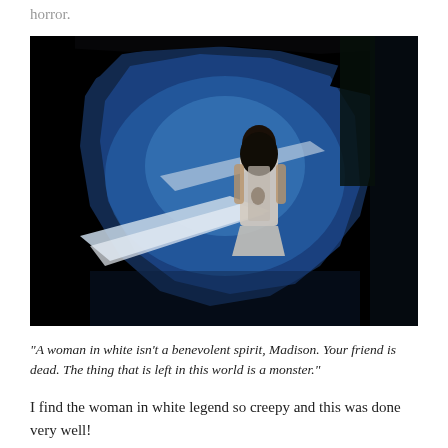horror.
[Figure (photo): Dark horror scene showing a woman in a white dress standing in a dark space with a jagged blue-lit opening or tunnel in front of her, creating an eerie atmospheric look.]
“A woman in white isn’t a benevolent spirit, Madison. Your friend is dead. The thing that is left in this world is a monster.”
I find the woman in white legend so creepy and this was done very well!